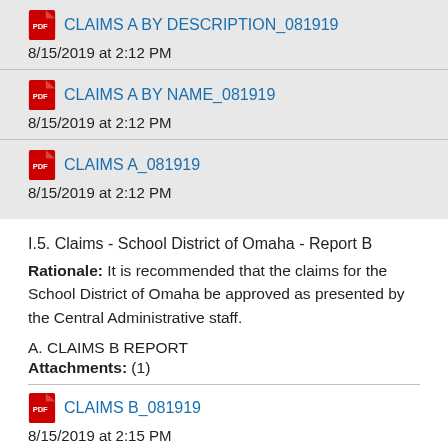CLAIMS A BY DESCRIPTION_081919
8/15/2019 at 2:12 PM
CLAIMS A BY NAME_081919
8/15/2019 at 2:12 PM
CLAIMS A_081919
8/15/2019 at 2:12 PM
I.5. Claims - School District of Omaha - Report B
Rationale: It is recommended that the claims for the School District of Omaha be approved as presented by the Central Administrative staff.
A.  CLAIMS B REPORT
Attachments: (1)
CLAIMS B_081919
8/15/2019 at 2:15 PM